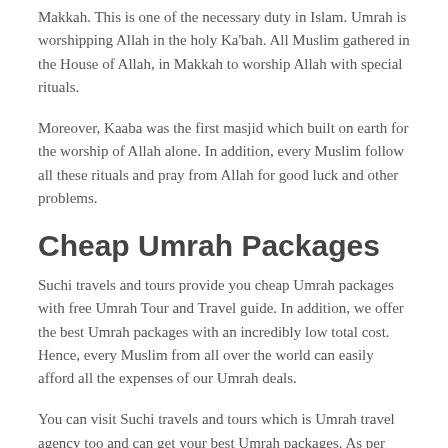Makkah. This is one of the necessary duty in Islam. Umrah is worshipping Allah in the holy Ka'bah. All Muslim gathered in the House of Allah, in Makkah to worship Allah with special rituals.
Moreover, Kaaba was the first masjid which built on earth for the worship of Allah alone. In addition, every Muslim follow all these rituals and pray from Allah for good luck and other problems.
Cheap Umrah Packages
Suchi travels and tours provide you cheap Umrah packages with free Umrah Tour and Travel guide. In addition, we offer the best Umrah packages with an incredibly low total cost. Hence, every Muslim from all over the world can easily afford all the expenses of our Umrah deals.
You can visit Suchi travels and tours which is Umrah travel agency too and can get your best Umrah packages. As per rule, overstay, any illegal and prohibited activities are not allowed in the restaurant and residence place. Moreover, we keep on updating our facilities on the daily basis. Further, we provide 24/7 customer support to our valuable customer. So, if you feel any problem during the journey than you can contact us any time. Consequently, we provide a totally free of cost support so you can contact without any hesitation and get help from our